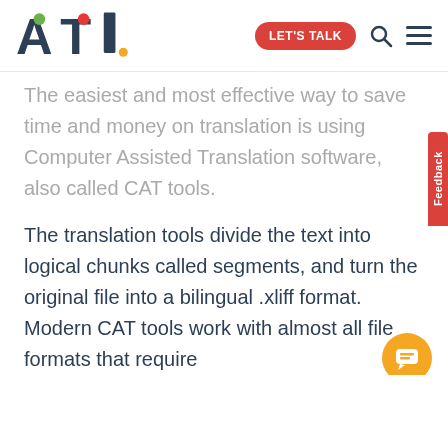[Figure (logo): ATL logo with red dot on A, green dot on T, red dot below I, and orange dot below period. Navigation bar with red 'LET'S TALK' button, search icon, and hamburger menu icon.]
The easiest and most effective way to save time and money on translation is using Computer Assisted Translation software, also called CAT tools.
The translation tools divide the text into logical chunks called segments, and turn the original file into a bilingual .xliff format. Modern CAT tools work with almost all file formats that require